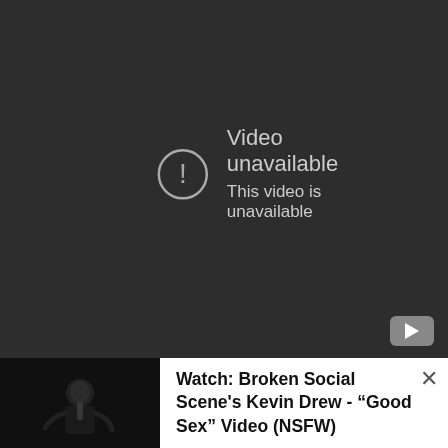[Figure (screenshot): YouTube video player showing 'Video unavailable' error message on a dark grey background. A circle with exclamation mark icon is on the left, with text 'Video unavailable' and 'This video is unavailable' on the right. A YouTube logo button appears in the bottom right corner of the player.]
[Figure (photo): Black and white photo thumbnail of a performer on stage, appears to be singing or playing music.]
Watch: Broken Social Scene's Kevin Drew - “Good Sex” Video (NSFW)